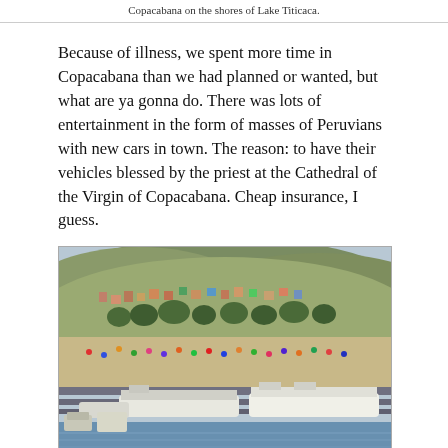Copacabana on the shores of Lake Titicaca.
Because of illness, we spent more time in Copacabana than we had planned or wanted, but what are ya gonna do. There was lots of entertainment in the form of masses of Peruvians with new cars in town. The reason: to have their vehicles blessed by the priest at the Cathedral of the Virgin of Copacabana. Cheap insurance, I guess.
[Figure (photo): Aerial/elevated view of Copacabana harbor and town on the shores of Lake Titicaca, showing boats docked at piers, crowds of people, colorful buildings on hillside, and hills in the background.]